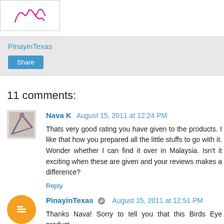[Figure (logo): Handwritten-style logo/signature in pink cursive on white background with border]
PinayinTexas
Share
11 comments:
Nava K  August 15, 2011 at 12:24 PM
Thats very good rating you have given to the products. I like that how you prepared all the little stuffs to go with it. Wonder whether I can find it over in Malaysia. Isn't it exciting when these are given and your reviews makes a difference?
Reply
PinayinTexas  August 15, 2011 at 12:51 PM
Thanks Nava! Sorry to tell you that this Birds Eye product